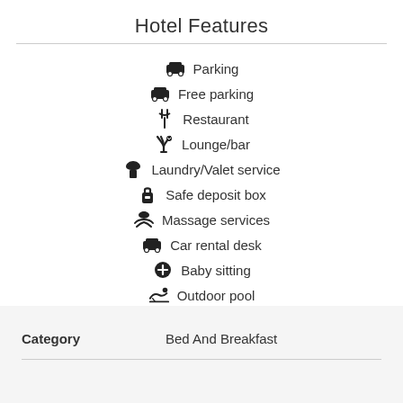Hotel Features
Parking
Free parking
Restaurant
Lounge/bar
Laundry/Valet service
Safe deposit box
Massage services
Car rental desk
Baby sitting
Outdoor pool
| Category |  |
| --- | --- |
| Category | Bed And Breakfast |